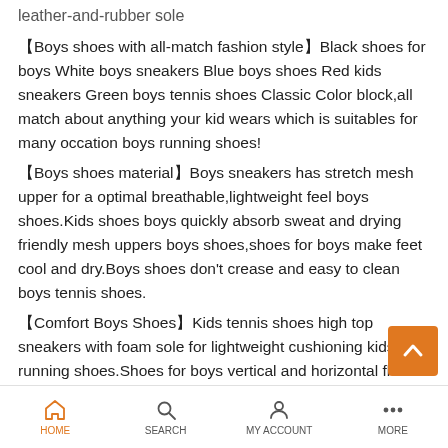leather-and-rubber sole
【Boys shoes with all-match fashion style】Black shoes for boys White boys sneakers Blue boys shoes Red kids sneakers Green boys tennis shoes Classic Color block,all match about anything your kid wears which is suitables for many occation boys running shoes!
【Boys shoes material】Boys sneakers has stretch mesh upper for a optimal breathable,lightweight feel boys shoes.Kids shoes boys quickly absorb sweat and drying friendly mesh uppers boys shoes,shoes for boys make feet cool and dry.Boys shoes don't crease and easy to clean boys tennis shoes.
【Comfort Boys Shoes】Kids tennis shoes high top sneakers with foam sole for lightweight cushioning kids running shoes.Shoes for boys vertical and horizontal flex grooves give boys shoes flexibility in all directions.Boys sneakers cushion last long especially when kids run around and jump everywhere.
【Slip-on Boys Shoes. Boys athletic shoes spotted boys kids shoes boys style with adjustable laces for dynamic
HOME   SEARCH   MY ACCOUNT   MORE